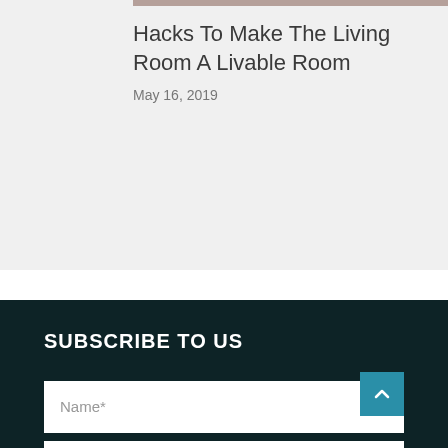Hacks To Make The Living Room A Livable Room
May 16, 2019
SUBSCRIBE TO US
Name*
Email Address*